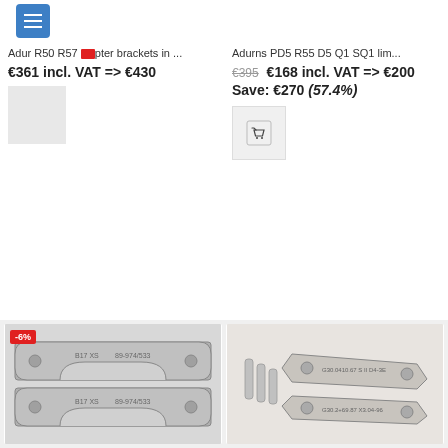[Figure (screenshot): E-commerce product listing page showing brake adapter brackets and related parts with prices in EUR]
Adur R50 R57 adapter brackets in ...
€361 incl. VAT => €430
Adurns PD5 R55 D5 Q1 SQ1 lim...
€395 €168 incl. VAT => €200
Save: €270 (57.4%)
[Figure (photo): Two metal brake adapter brackets (disc brake adapters) shown stacked]
[Figure (photo): Metal brake adapter brackets with mounting bolts]